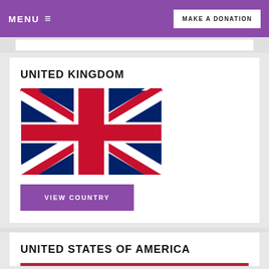MENU  ≡   MAKE A DONATION
UNITED KINGDOM
[Figure (illustration): Union Jack flag of the United Kingdom — blue background with white and red diagonal and horizontal/vertical crosses.]
VIEW COUNTRY
UNITED STATES OF AMERICA